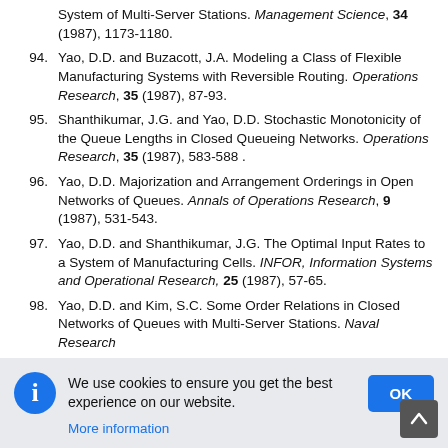System of Multi-Server Stations. Management Science, 34 (1987), 1173-1180.
94. Yao, D.D. and Buzacott, J.A. Modeling a Class of Flexible Manufacturing Systems with Reversible Routing. Operations Research, 35 (1987), 87-93.
95. Shanthikumar, J.G. and Yao, D.D. Stochastic Monotonicity of the Queue Lengths in Closed Queueing Networks. Operations Research, 35 (1987), 583-588 .
96. Yao, D.D. Majorization and Arrangement Orderings in Open Networks of Queues. Annals of Operations Research, 9 (1987), 531-543.
97. Yao, D.D. and Shanthikumar, J.G. The Optimal Input Rates to a System of Manufacturing Cells. INFOR, Information Systems and Operational Research, 25 (1987), 57-65.
98. Yao, D.D. and Kim, S.C. Some Order Relations in Closed Networks of Queues with Multi-Server Stations. Naval Research
We use cookies to ensure you get the best experience on our website. More information